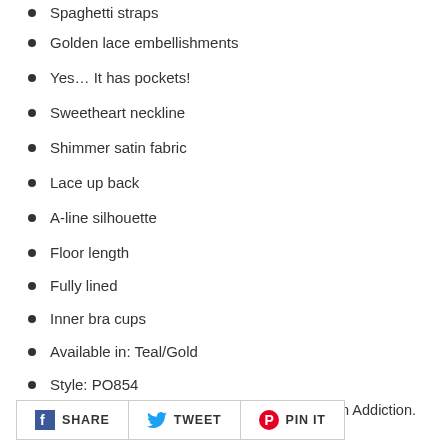Spaghetti straps
Golden lace embellishments
Yes… It has pockets!
Sweetheart neckline
Shimmer satin fabric
Lace up back
A-line silhouette
Floor length
Fully lined
Inner bra cups
Available in: Teal/Gold
Style: PO854
Full Tania Olsen range available to order from Addiction.
SHARE   TWEET   PIN IT